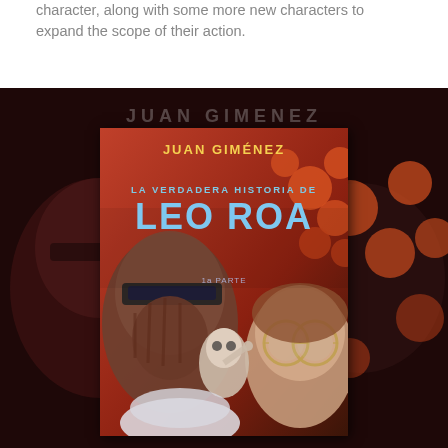character, along with some more new characters to expand the scope of their action.
[Figure (photo): Book cover of 'La Verdadera Historia de Leo Roa, 1a Parte' by Juan Giménez. The cover shows comic book style artwork with sci-fi characters including a masked/helmeted figure on the left, a woman with large round glasses on the right, and a smaller character in the center. The background features orange polka dots and dark red tones. The title text 'Leo Roa' is displayed in large blue-white letters. Behind the cover, there is a darker background version of the same artwork.]